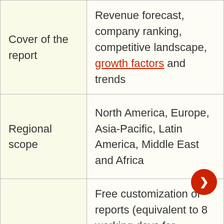|  |  |
| --- | --- |
| Cover of the report | Revenue forecast, company ranking, competitive landscape, growth factors and trends |
| Regional scope | North America, Europe, Asia-Pacific, Latin America, Middle East and Africa |
| Scope of customization | Free customization of reports (equivalent to 8 working days for analysts) with purchase. Add or change the scope of country, region and segment. |
| Price and | Take advantage of custom shopping options to meet |